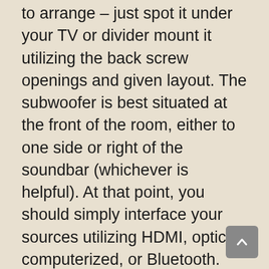to arrange – just spot it under your TV or divider mount it utilizing the back screw openings and given layout. The subwoofer is best situated at the front of the room, either to one side or right of the soundbar (whichever is helpful). At that point, you should simply interface your sources utilizing HDMI, optical computerized, or Bluetooth.
The HDMI associations offer the best solid quality and the best accommodation. Despite there being an HDMI input, you can just interface all the HDMI sources to your TV and afterward send the sound back through ARC (sound bring channel back). This methodology likewise permits you to exploit CEC (purchaser gadgets control) and work the soundbar with your TV far off...